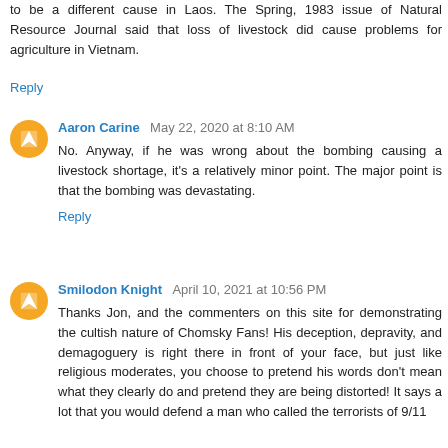to be a different cause in Laos. The Spring, 1983 issue of Natural Resource Journal said that loss of livestock did cause problems for agriculture in Vietnam.
Reply
Aaron Carine  May 22, 2020 at 8:10 AM
No. Anyway, if he was wrong about the bombing causing a livestock shortage, it's a relatively minor point. The major point is that the bombing was devastating.
Reply
Smilodon Knight  April 10, 2021 at 10:56 PM
Thanks Jon, and the commenters on this site for demonstrating the cultish nature of Chomsky Fans! His deception, depravity, and demagoguery is right there in front of your face, but just like religious moderates, you choose to pretend his words don't mean what they clearly do and pretend they are being distorted! It says a lot that you would defend a man who called the terrorists of 9/11